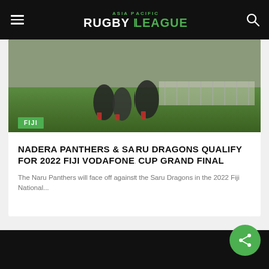ASIA PACIFIC RUGBY LEAGUE
[Figure (photo): Rugby league players in action on a field, players wearing red and black uniforms, green grass visible]
FIJI
NADERA PANTHERS & SARU DRAGONS QUALIFY FOR 2022 FIJI VODAFONE CUP GRAND FINAL
The Naru Panthers will face off against the Saru Dragons in the 2022 Fiji National...